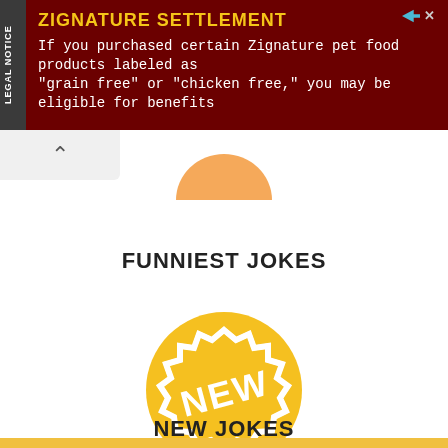[Figure (screenshot): Advertisement banner: ZIGNATURE SETTLEMENT - If you purchased certain Zignature pet food products labeled as 'grain free' or 'chicken free,' you may be eligible for benefits. Dark red background with yellow title text and white body text. 'LEGAL NOTICE' tab on left side.]
FUNNIEST JOKES
[Figure (illustration): Golden/yellow circular badge with a starburst/seal shape inside, containing the text 'NEW' in white bold letters on a yellow background with white outline border.]
NEW JOKES